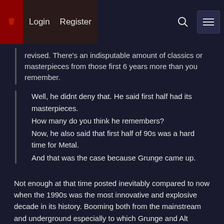Login  Register
revised. There's an indisputable amount of classics or masterpieces from those first 6 years more than you remember.
Well, he didnt deny that. He said first half had its masterpieces.
How many do you think he remembers?
Now, he also said that first half of 90s was a hard time for Metal.
And that was the case because Grunge came up.
Not enough at that time posted inevitably compared to now when the 1990s was the most innovative and explosive decade in its history. Booming both from the mainstream and underground especially to which Grunge and Alt haven't got shit numerically when it comes to amounts of classics or masterpieces by the quantities. Every extreme subgenre and their fusion mother that grew to be selective now has its traces in this decade afaik and the mainstream reached the biggest cultural forte it ever did, being measured since.
---